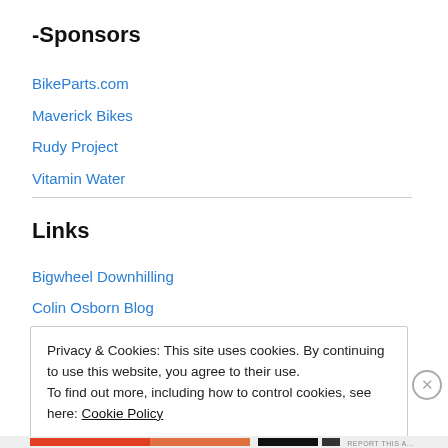-Sponsors
BikeParts.com
Maverick Bikes
Rudy Project
Vitamin Water
Links
Bigwheel Downhilling
Colin Osborn Blog
I Ride Bikes Blog
Privacy & Cookies: This site uses cookies. By continuing to use this website, you agree to their use.
To find out more, including how to control cookies, see here: Cookie Policy
Close and accept